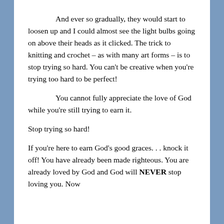And ever so gradually, they would start to loosen up and I could almost see the light bulbs going on above their heads as it clicked. The trick to knitting and crochet – as with many art forms – is to stop trying so hard. You can't be creative when you're trying too hard to be perfect!
You cannot fully appreciate the love of God while you're still trying to earn it.
Stop trying so hard!
If you're here to earn God's good graces. . . knock it off! You have already been made righteous. You are already loved by God and God will NEVER stop loving you. Now